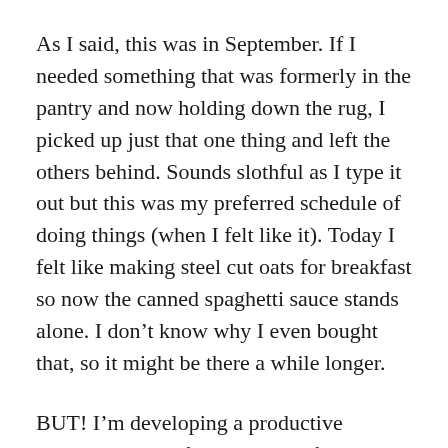As I said, this was in September. If I needed something that was formerly in the pantry and now holding down the rug, I picked up just that one thing and left the others behind. Sounds slothful as I type it out but this was my preferred schedule of doing things (when I felt like it). Today I felt like making steel cut oats for breakfast so now the canned spaghetti sauce stands alone. I don't know why I even bought that, so it might be there a while longer.
BUT! I'm developing a productive schedulable just for me, with a forgiving timeline making it more likely I'll stick to it. Here it is: When I get out of bed and after morning ablutions, I click onto a YouTube video called “Peaceful Uplifting